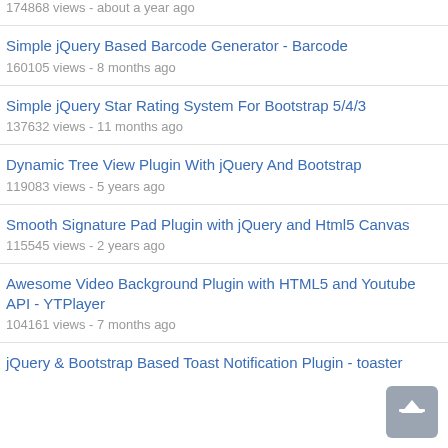174868 views - about a year ago
Simple jQuery Based Barcode Generator - Barcode
160105 views - 8 months ago
Simple jQuery Star Rating System For Bootstrap 5/4/3
137632 views - 11 months ago
Dynamic Tree View Plugin With jQuery And Bootstrap
119083 views - 5 years ago
Smooth Signature Pad Plugin with jQuery and Html5 Canvas
115545 views - 2 years ago
Awesome Video Background Plugin with HTML5 and Youtube API - YTPlayer
104161 views - 7 months ago
jQuery & Bootstrap Based Toast Notification Plugin - toaster